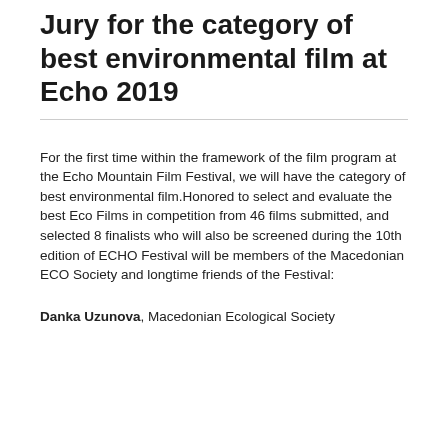Jury for the category of best environmental film at Echo 2019
For the first time within the framework of the film program at the Echo Mountain Film Festival, we will have the category of best environmental film.Honored to select and evaluate the best Eco Films in competition from 46 films submitted, and selected 8 finalists who will also be screened during the 10th edition of ECHO Festival will be members of the Macedonian ECO Society and longtime friends of the Festival:
Danka Uzunova, Macedonian Ecological Society
...